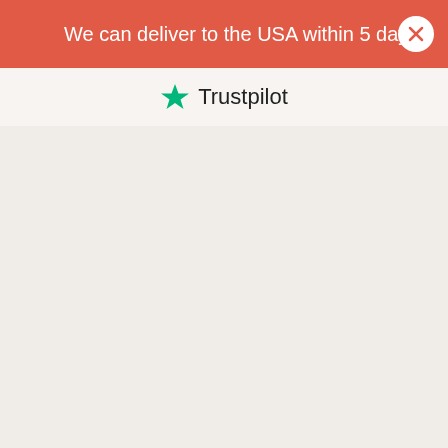We can deliver to the USA within 5 days!
[Figure (logo): Trustpilot logo with green star and 'Trustpilot' text in dark font]